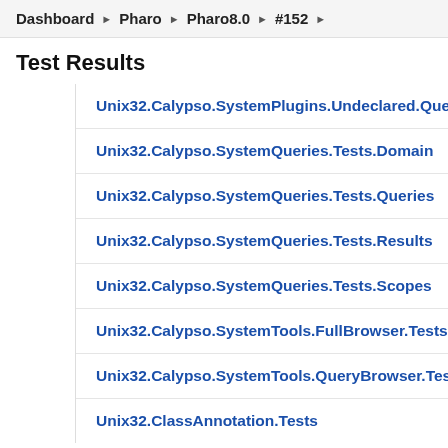Dashboard ▶ Pharo ▶ Pharo8.0 ▶ #152 ▶
Test Results
Unix32.Calypso.SystemPlugins.Undeclared.Queries.Tests
Unix32.Calypso.SystemQueries.Tests.Domain
Unix32.Calypso.SystemQueries.Tests.Queries
Unix32.Calypso.SystemQueries.Tests.Results
Unix32.Calypso.SystemQueries.Tests.Scopes
Unix32.Calypso.SystemTools.FullBrowser.Tests
Unix32.Calypso.SystemTools.QueryBrowser.Tests
Unix32.ClassAnnotation.Tests